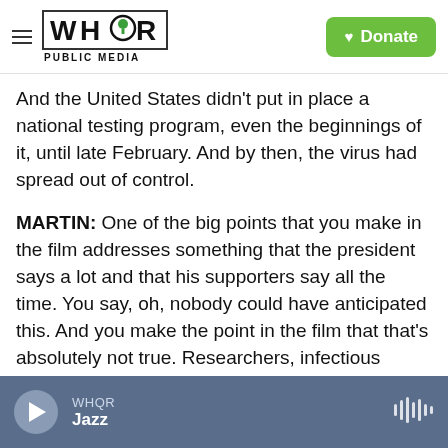WHQR PUBLIC MEDIA | Donate
And the United States didn't put in place a national testing program, even the beginnings of it, until late February. And by then, the virus had spread out of control.
MARTIN: One of the big points that you make in the film addresses something that the president says a lot and that his supporters say all the time. You say, oh, nobody could have anticipated this. And you make the point in the film that that's absolutely not true. Researchers, infectious disease specialists, computer modelers, intelligence analysts all over the world have been expecting something like this.
WHQR Jazz